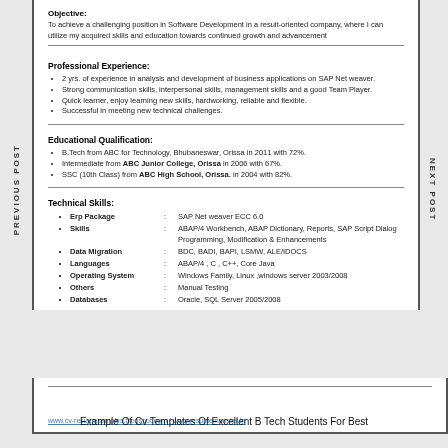Objective:
To achieve a challenging position in Software Development in a result-oriented company, where I can utilize my acquired skills and education towards continued growth and advancement
Professional Experience:
2 yrs. of experience in analysis and development of business applications on SAP Net weaver.
Strong communication skills, interpersonal skills, management skills and a good Team Player.
Quick learner, enjoy learning new skills, hardworking, reliable and flexible.
Successful in meeting new technical challenges.
Educational Qualification:
B.Tech from ABC for Technology, Bhubaneswar, Orissa in 2011 with 72%.
Intermediate from ABC Junior College, Orissa in 2006 with 67%.
SSC (10th Class) from ABC High School, Orissa. in 2004 with 82%.
Technical Skills:
Erp Package : SAP Net weaver ECC 6.0
Skills : ABAP/4 Workbench, ABAP Dictionary, Reports, SAP Script Dialog Programming, Modification & Enhancements
Data Migration : BDC, BADI, BAPI, LSMW, ALE/IDOCS
Languages : ABAP/4 , C , C++, Core Java
Operating System : Windows Family, Linux ,windows server 2003/2008
Others : Manual Testing
Databases : Oracle, SQL Server 2005/2008
www.cv-resumesamples.blogspot.com / www.resumemonster.in
Example Of Cv Templates Of Excellent B Tech Students For Best